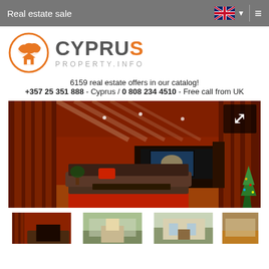Real estate sale
[Figure (logo): Cyprus Property.info logo with orange circle containing Cyprus map silhouette and house icon]
6159 real estate offers in our catalog!
+357 25 351 888 - Cyprus / 0 808 234 4510 - Free call from UK
[Figure (photo): Interior photo of a living room with red/orange ambient lighting, striped feature wall, large TV unit, sofa, coffee table, Christmas tree]
[Figure (photo): Row of four thumbnail photos of Cyprus property interiors and exteriors]